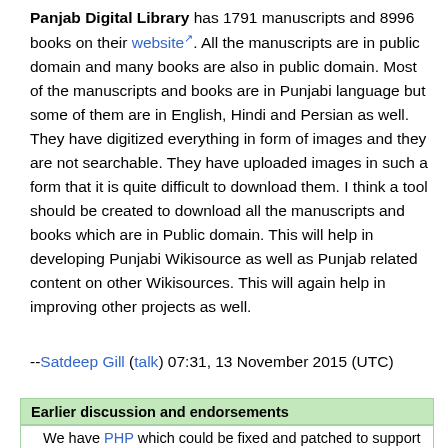Panjab Digital Library has 1791 manuscripts and 8996 books on their website [external link]. All the manuscripts are in public domain and many books are also in public domain. Most of the manuscripts and books are in Punjabi language but some of them are in English, Hindi and Persian as well. They have digitized everything in form of images and they are not searchable. They have uploaded images in such a form that it is quite difficult to download them. I think a tool should be created to download all the manuscripts and books which are in Public domain. This will help in developing Punjabi Wikisource as well as Punjab related content on other Wikisources. This will again help in improving other projects as well.
--Satdeep Gill (talk) 07:31, 13 November 2015 (UTC)
Earlier discussion and endorsements
We have PHP which could be fixed and patched to support